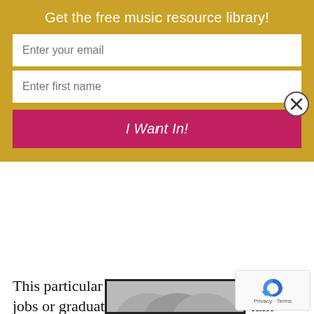Get the free music resource library!
Enter your email
Enter first name
I Want In!
This particular post will cover researching jobs or graduate school. I am going to talk about what I have done and will continue doing in order to find the job or grad program that is right for me.
If you have not read the first installment of this monthly series, click here.
[Figure (screenshot): Partially visible image at the bottom of the page showing gray arch/book shapes with a dark border]